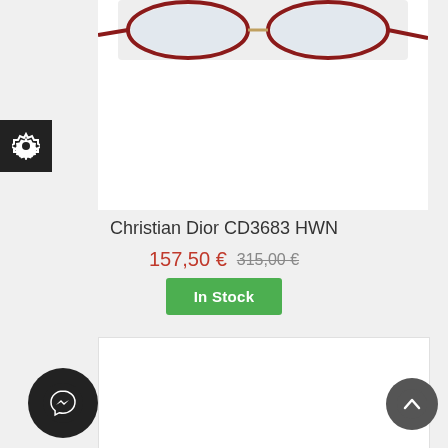[Figure (photo): Product photo of Christian Dior CD3683 HWN eyeglasses/sunglasses, partially cropped at top showing frames against white background]
Christian Dior CD3683 HWN
157,50 € 315,00 €
In Stock
[Figure (photo): Second product card (partially visible) with a red SALE! badge]
[Figure (other): Settings gear icon button (dark square)]
[Figure (other): Facebook Messenger chat button (dark circle)]
[Figure (other): Scroll to top button (dark grey circle with up arrow)]